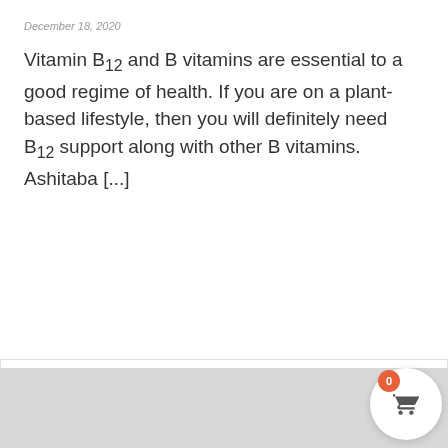December 18, 2020
Vitamin B12 and B vitamins are essential to a good regime of health. If you are on a plant-based lifestyle, then you will definitely need  B12 support along with other B vitamins. Ashitaba [...]
› Read More
[Figure (map): Gray map area with scroll-to-top button, email button, and shopping cart button overlay on right side]